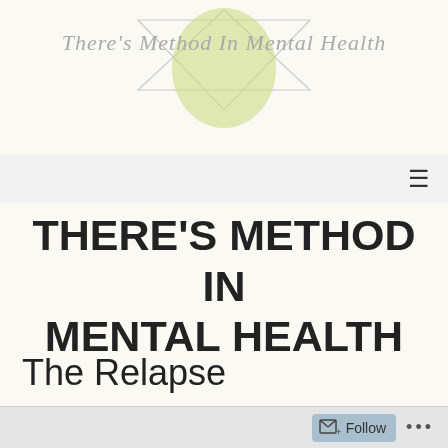[Figure (logo): There's Method In Mental Health logo with cursive text and a green circle with triangle geometric shapes]
THERE'S METHOD IN MENTAL HEALTH
The Relapse
Follow